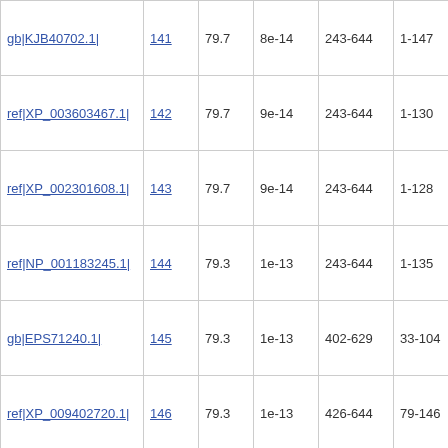| gb|KJB40702.1| | 141 | 79.7 | 8e-14 | 243-644 | 1-147 | +3 |  |
| ref|XP_003603467.1| | 142 | 79.7 | 9e-14 | 243-644 | 1-130 | +3 |  |
| ref|XP_002301608.1| | 143 | 79.7 | 9e-14 | 243-644 | 1-128 | +3 |  |
| ref|NP_001183245.1| | 144 | 79.3 | 1e-13 | 243-644 | 1-135 | +3 |  |
| gb|EPS71240.1| | 145 | 79.3 | 1e-13 | 402-629 | 33-104 | +3 |  |
| ref|XP_009402720.1| | 146 | 79.3 | 1e-13 | 426-644 | 79-146 | +3 |  |